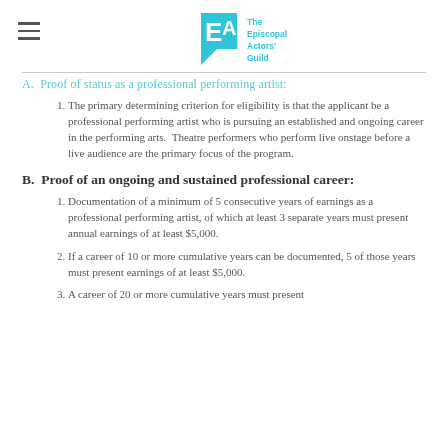The Episcopal Actors' Guild
A.  Proof of status as a professional performing artist:
The primary determining criterion for eligibility is that the applicant be a professional performing artist who is pursuing an established and ongoing career in the performing arts.  Theatre performers who perform live onstage before a live audience are the primary focus of the program.
B.  Proof of an ongoing and sustained professional career:
Documentation of a minimum of 5 consecutive years of earnings as a professional performing artist, of which at least 3 separate years must present annual earnings of at least $5,000.
If a career of 10 or more cumulative years can be documented, 5 of those years must present earnings of at least $5,000.
A career of 20 or more cumulative years must present